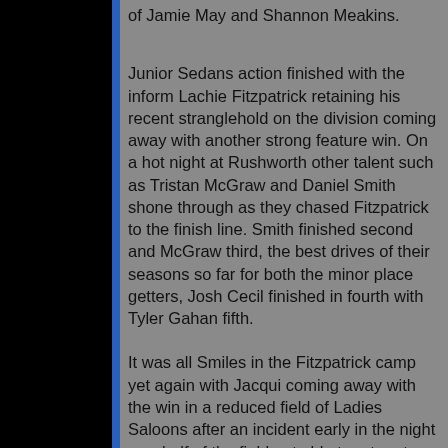of Jamie May and Shannon Meakins.
Junior Sedans action finished with the inform Lachie Fitzpatrick retaining his recent stranglehold on the division coming away with another strong feature win. On a hot night at Rushworth other talent such as Tristan McGraw and Daniel Smith shone through as they chased Fitzpatrick to the finish line. Smith finished second and McGraw third, the best drives of their seasons so far for both the minor place getters, Josh Cecil finished in fourth with Tyler Gahan fifth.
It was all Smiles in the Fitzpatrick camp yet again with Jacqui coming away with the win in a reduced field of Ladies Saloons after an incident early in the night saw half of the field not able to return to the track. Chloe Lamb would take out a heat race win as well as Leeanne Hodge grabbing one of her first career heat race wins. Lamb finished second in the feature to Fitzpatrick followed in third by Ally Moore.